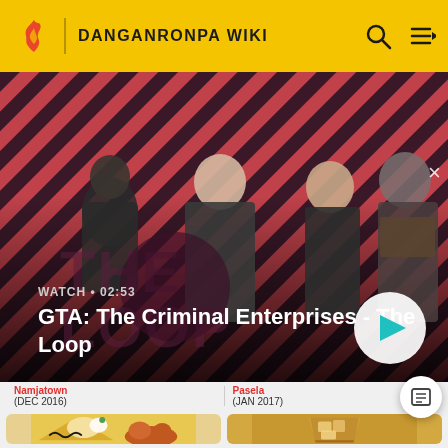DANGANRONPA WIKI
[Figure (screenshot): Video thumbnail: GTA The Criminal Enterprises - The Loop. Shows characters from GTA on diagonal striped red/dark background. Includes a play button and close button. Label shows WATCH • 02:53]
Namjatown (DEC 2016)
Pasela (JAN 2017)
[Figure (photo): Close-up photo of a yellow cake slice with whipped cream and Charlie Brown / Peanuts-themed decorations, cartoon fox figure]
[Figure (photo): Photo of an iced drink in a glass with caramel/golden liquid]